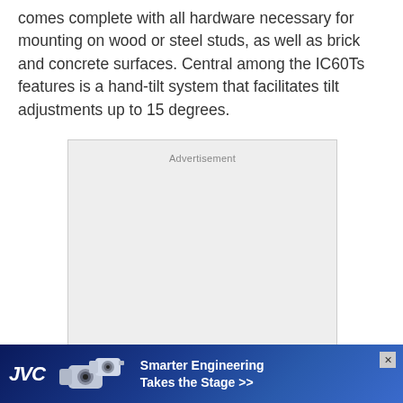comes complete with all hardware necessary for mounting on wood or steel studs, as well as brick and concrete surfaces. Central among the IC60Ts features is a hand-tilt system that facilitates tilt adjustments up to 15 degrees.
[Figure (other): Advertisement placeholder box with light gray background]
[Figure (photo): JVC banner advertisement showing JVC logo, two PTZ cameras, and text 'Smarter Engineering Takes the Stage >>' on a blue radial background with a close button]